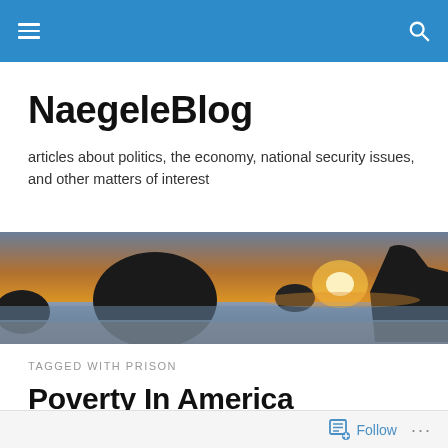NaegeleBlog navigation bar
NaegeleBlog
articles about politics, the economy, national security issues, and other matters of interest
[Figure (photo): Coastal sunset scene with large rock formations silhouetted against a glowing orange sky, waves on a beach]
TAGGED WITH PRISON
Poverty In America
[Figure (photo): Partial thumbnail image, brownish tones, cropped figure]
Follow ...